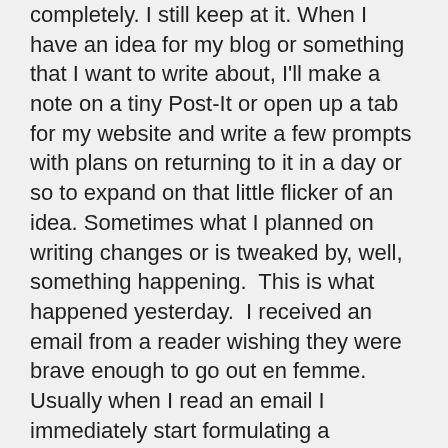completely. I still keep at it. When I have an idea for my blog or something that I want to write about, I'll make a note on a tiny Post-It or open up a tab for my website and write a few prompts with plans on returning to it in a day or so to expand on that little flicker of an idea. Sometimes what I planned on writing changes or is tweaked by, well, something happening. This is what happened yesterday. I received an email from a reader wishing they were brave enough to go out en femme. Usually when I read an email I immediately start formulating a response in my mind and while I was reading her email I realized that you can't be brave if you're not afraid. There are things I do, places I have gone, dresses that I have worn where I have thought that I was being really brave in doing so. But! while I may have felt brave it was only because I was also feeling afraid.
You can't feel courageous if you're not scared